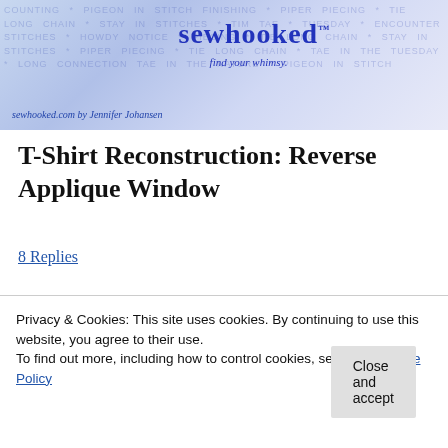[Figure (photo): Sewhooked blog header banner with blue/purple gradient background, decorative text words related to sewing, logo 'sewhooked' in cursive blue font with tagline 'find your whimsy' and byline 'sewhooked.com by Jennifer Johansen']
T-Shirt Reconstruction: Reverse Applique Window
8 Replies
[Figure (photo): Partial photo of dark folded t-shirt on a surface]
Privacy & Cookies: This site uses cookies. By continuing to use this website, you agree to their use.
To find out more, including how to control cookies, see here: Cookie Policy
Close and accept
[Figure (photo): Partial photo of green fabric/t-shirt with orange element, partially visible]
to